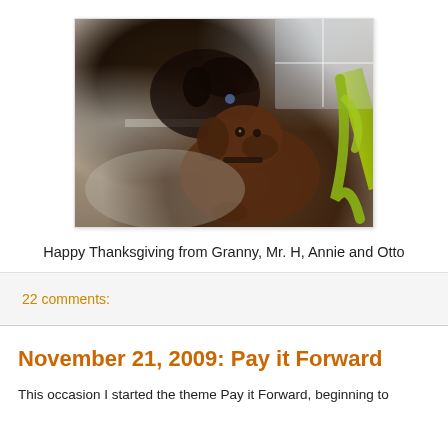[Figure (photo): Two dachshund dogs on a couch/bed near a window. One smaller dark dog is in the background near the window, and a larger brown dachshund is in the foreground looking at the camera. A green ribbon or plant is visible on the right side.]
Happy Thanksgiving from Granny, Mr. H, Annie and Otto
22 comments:
November 21, 2009: Pay it Forward
This occasion I started the theme Pay it Forward, beginning to